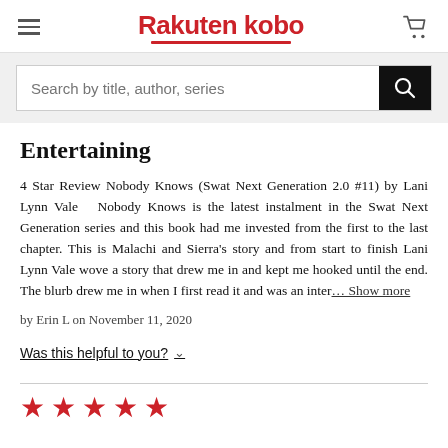Rakuten kobo
Search by title, author, series
Entertaining
4 Star Review Nobody Knows (Swat Next Generation 2.0 #11) by Lani Lynn Vale  Nobody Knows is the latest instalment in the Swat Next Generation series and this book had me invested from the first to the last chapter. This is Malachi and Sierra's story and from start to finish Lani Lynn Vale wove a story that drew me in and kept me hooked until the end. The blurb drew me in when I first read it and was an inter… … Show more
by Erin L on November 11, 2020
Was this helpful to you?
[Figure (other): Five red star rating icons]